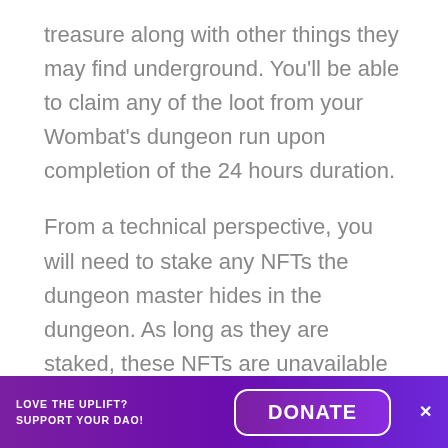treasure along with other things they may find underground. You'll be able to claim any of the loot from your Wombat's dungeon run upon completion of the 24 hours duration.
From a technical perspective, you will need to stake any NFTs the dungeon master hides in the dungeon. As long as they are staked, these NFTs are unavailable for any other transactions or e.g. to be used within Womplay. The max number of NFTs staked per blockchain is 100. If you no longer wish to use the staked NFTs in the Dungeon Master, you can unstake them at
LOVE THE UPLIFT? SUPPORT YOUR DAO!   DONATE   ×